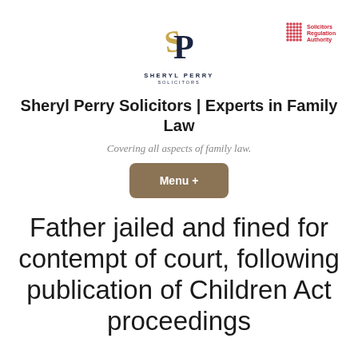[Figure (logo): Sheryl Perry Solicitors logo — stylized S and P monogram in gold and navy, with firm name below]
[Figure (logo): Solicitors Regulation Authority logo — red dot grid pattern with text]
Sheryl Perry Solicitors | Experts in Family Law
Covering all aspects of family law.
Menu +
Father jailed and fined for contempt of court, following publication of Children Act proceedings